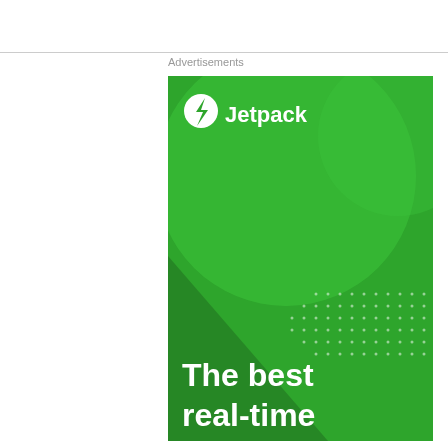Advertisements
[Figure (illustration): Jetpack advertisement banner with green background, circular decorative shapes in lighter green, dot pattern, Jetpack logo with lightning bolt icon in white circle, and headline text 'The best real-time']